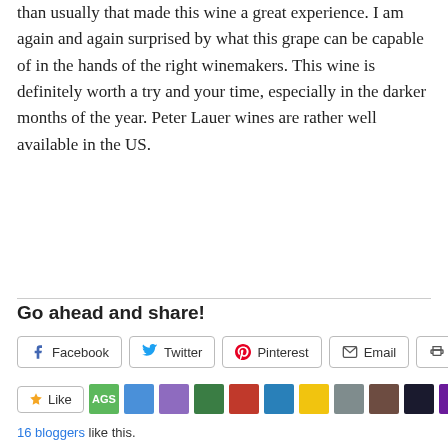than usually that made this wine a great experience. I am again and again surprised by what this grape can be capable of in the hands of the right winemakers. This wine is definitely worth a try and your time, especially in the darker months of the year. Peter Lauer wines are rather well available in the US.
Go ahead and share!
[Figure (screenshot): Social share buttons: Facebook, Twitter, Pinterest, Email, Print]
[Figure (screenshot): Like button and 11 blogger avatar thumbnails]
16 bloggers like this.